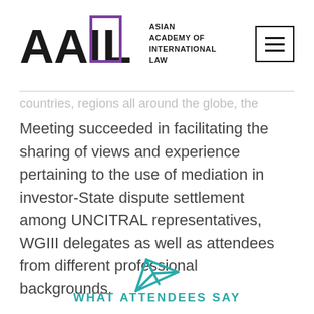[Figure (logo): AAIL - Asian Academy of International Law logo with purple bracket and hamburger menu button]
countries, regions all around the globe, the Meeting succeeded in facilitating the sharing of views and experience pertaining to the use of mediation in investor-State dispute settlement among UNCITRAL representatives, WGIII delegates as well as attendees from different professional backgrounds.
[Figure (illustration): Teal paper airplane / send icon]
WHAT ATTENDEES SAY